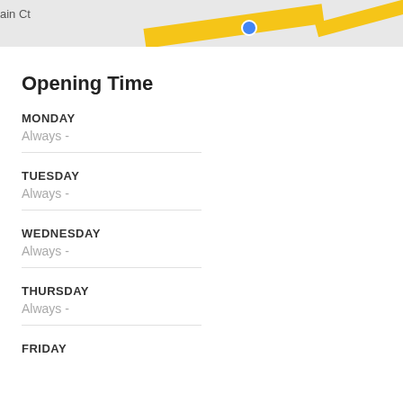[Figure (map): Partial map screenshot showing 'ain Ct' street label, a yellow road, and a blue location marker dot]
Opening Time
MONDAY
Always -
TUESDAY
Always -
WEDNESDAY
Always -
THURSDAY
Always -
FRIDAY